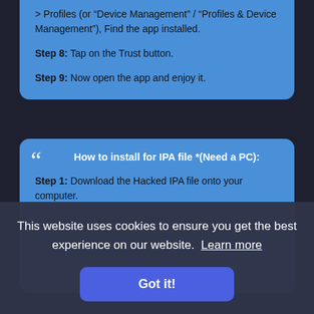> Profiles (or "Device Management" / "Profiles & Device Management"), Find the app installed.
Step 8: Tap on the Trust button.
Step 9: Now open the app and enjoy it.
How to install for IPA file *(Need a PC):
Step 1: Download the Hacked IPA file onto your computer.
This website uses cookies to ensure you get the best experience on our website.  Learn more
Got it!